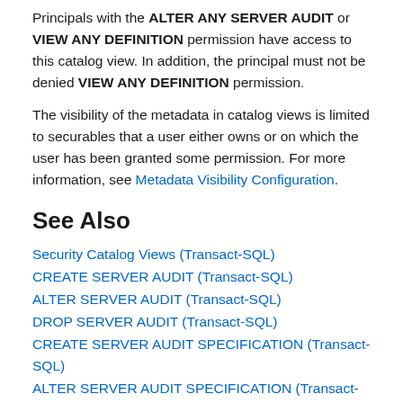Principals with the ALTER ANY SERVER AUDIT or VIEW ANY DEFINITION permission have access to this catalog view. In addition, the principal must not be denied VIEW ANY DEFINITION permission.
The visibility of the metadata in catalog views is limited to securables that a user either owns or on which the user has been granted some permission. For more information, see Metadata Visibility Configuration.
See Also
Security Catalog Views (Transact-SQL)
CREATE SERVER AUDIT (Transact-SQL)
ALTER SERVER AUDIT (Transact-SQL)
DROP SERVER AUDIT (Transact-SQL)
CREATE SERVER AUDIT SPECIFICATION (Transact-SQL)
ALTER SERVER AUDIT SPECIFICATION (Transact-SQL)
DROP SERVER AUDIT SPECIFICATION (Transact-SQL)